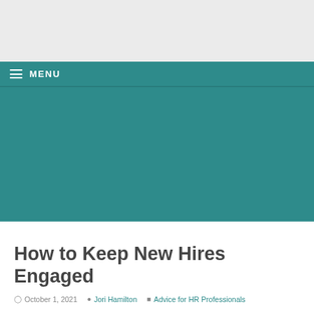[Figure (other): Gray top banner area of website header]
≡ MENU
[Figure (other): Teal/dark cyan colored banner image area]
How to Keep New Hires Engaged
October 1, 2021  Jori Hamilton  Advice for HR Professionals